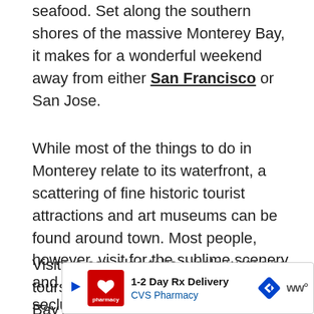seafood. Set along the southern shores of the massive Monterey Bay, it makes for a wonderful weekend away from either San Francisco or San Jose.
While most of the things to do in Monterey relate to its waterfront, a scattering of fine historic tourist attractions and art museums can be found around town. Most people, however, visit for the sublime scenery and nature, idyllic beaches and secluded coves set in dramatic cliffs.
Visitors can also take whale watching tours or head to the brilliant Monterey Bay Aquarium to see yet more marine life. Seals and sea lions can be spotted simply su... vi... y-the-
[Figure (other): CVS Pharmacy advertisement banner: '1-2 Day Rx Delivery' with CVS Pharmacy logo, a blue navigation arrow diamond icon, and WW logo]